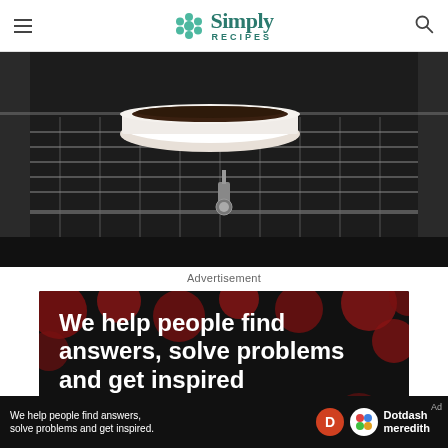Simply Recipes
[Figure (photo): A white ceramic pie dish filled with dark crumb crust sitting on an oven rack inside an open oven, with an oven thermometer visible on the lower rack]
Advertisement
[Figure (photo): Dark advertisement banner with red polka dot circles in background and white bold text reading 'We help people find answers, solve problems and get inspired']
[Figure (screenshot): Bottom advertisement bar showing Dotdash Meredith branding with text 'We help people find answers, solve problems and get inspired.' and the Dotdash Meredith logo icons]